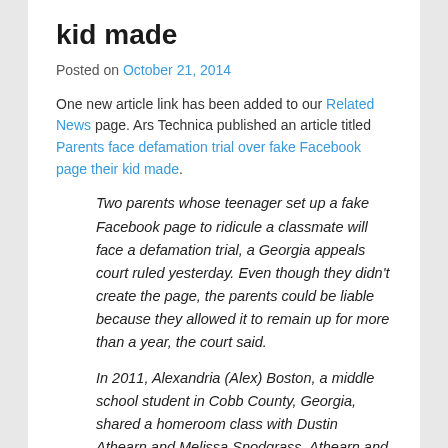kid made
Posted on October 21, 2014
One new article link has been added to our Related News page. Ars Technica published an article titled Parents face defamation trial over fake Facebook page their kid made.
Two parents whose teenager set up a fake Facebook page to ridicule a classmate will face a defamation trial, a Georgia appeals court ruled yesterday. Even though they didn't create the page, the parents could be liable because they allowed it to remain up for more than a year, the court said.
In 2011, Alexandria (Alex) Boston, a middle school student in Cobb County, Georgia, shared a homeroom class with Dustin Athearn and Melissa Snodgrass. Athearn and Snodgrass created a fake Facebook page under Boston's name. They posted pictures of her taken using a “fat face” app and wrote posts that suggested she had racist views and was a